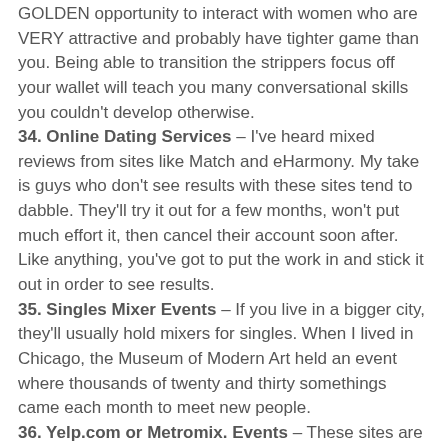GOLDEN opportunity to interact with women who are VERY attractive and probably have tighter game than you. Being able to transition the strippers focus off your wallet will teach you many conversational skills you couldn't develop otherwise.
34. Online Dating Services – I've heard mixed reviews from sites like Match and eHarmony. My take is guys who don't see results with these sites tend to dabble. They'll try it out for a few months, won't put much effort it, then cancel their account soon after. Like anything, you've got to put the work in and stick it out in order to see results.
35. Singles Mixer Events – If you live in a bigger city, they'll usually hold mixers for singles. When I lived in Chicago, the Museum of Modern Art held an event where thousands of twenty and thirty somethings came each month to meet new people.
36. Yelp.com or Metromix. Events – These sites are the absolute best resource you have at your disposal to find places to meet women. From restaurants, to bars, to various events, these sites are on top everything and